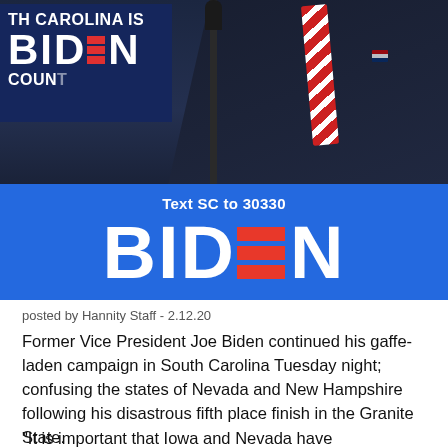[Figure (photo): Joe Biden speaking at a campaign rally in South Carolina. A large blue Biden campaign sign with red and white lettering reads 'BIDEN' with 'Text SC to 30330' above it. A smaller campaign sign in upper left reads 'TH CAROLINA IS BIDEN COUNT'. Biden is wearing a dark suit with a red-and-white striped tie.]
posted by Hannity Staff - 2.12.20
Former Vice President Joe Biden continued his gaffe-laden campaign in South Carolina Tuesday night; confusing the states of Nevada and New Hampshire following his disastrous fifth place finish in the Granite State.
“It is important that Iowa and Nevada have